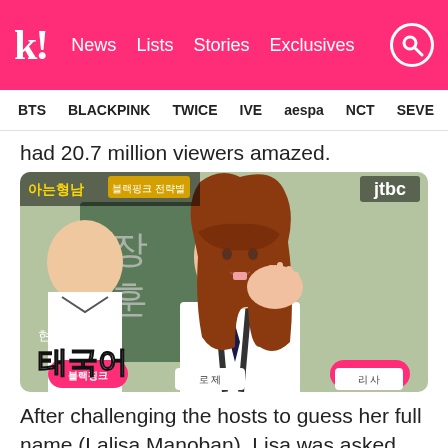K! News Lists Stories Exclusives
BTS BLACKPINK TWICE IVE aespa NCT SEVE
had 20.7 million viewers amazed.
[Figure (photo): Screenshot from JTBC TV show '아는형님' (Ask Us Anything) showing a girl with auburn hair in school uniform with Korean subtitles reading '현재 태국어' and pink name tags. Two girls visible, blackpink logos on microphones.]
After challenging the hosts to guess her full name (Lalisa Manoban), Lisa was asked how